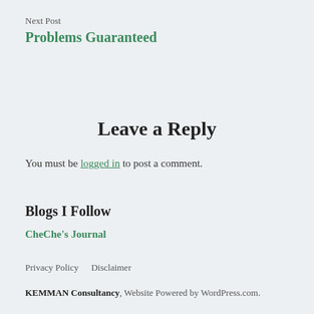Next Post
Problems Guaranteed
Leave a Reply
You must be logged in to post a comment.
Blogs I Follow
CheChe's Journal
Privacy Policy    Disclaimer
KEMMAN Consultancy, Website Powered by WordPress.com.